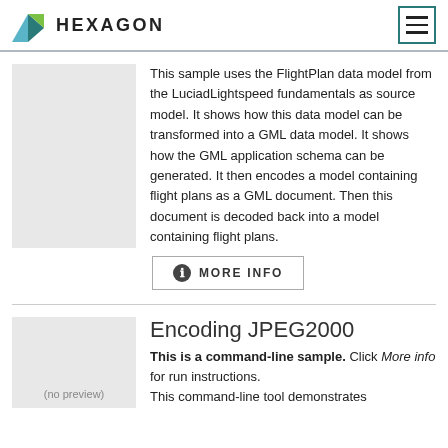HEXAGON
This sample uses the FlightPlan data model from the LuciadLightspeed fundamentals as source model. It shows how this data model can be transformed into a GML data model. It shows how the GML application schema can be generated. It then encodes a model containing flight plans as a GML document. Then this document is decoded back into a model containing flight plans.
MORE INFO
Encoding JPEG2000
This is a command-line sample. Click More info for run instructions. This command-line tool demonstrates